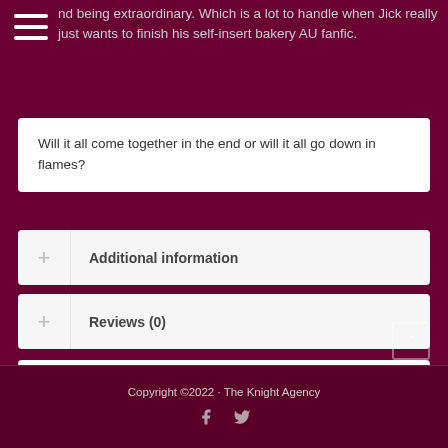nd being extraordinary. Which is a lot to handle when Jick really just wants to finish his self-insert bakery AU fanfic.
Will it all come together in the end or will it all go down in flames?
Additional information
Reviews (0)
0  0  0  Share  Tweet  Pin
Copyright ©2022 · The Knight Agency